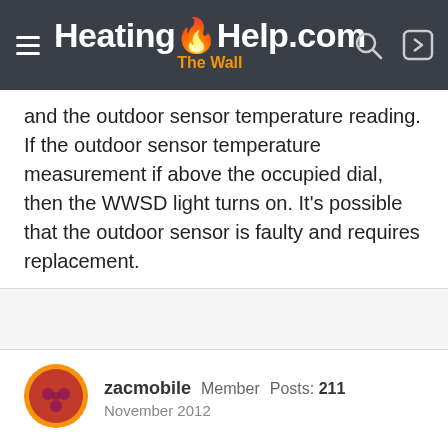HeatingHelp.com The Wall
and the outdoor sensor temperature reading. If the outdoor sensor temperature measurement if above the occupied dial, then the WWSD light turns on. It's possible that the outdoor sensor is faulty and requires replacement.
zacmobile  Member  Posts: 211  November 2012
old control
I had a similar issue recently with an older tekmar control. a 354 mixing control was doing the same